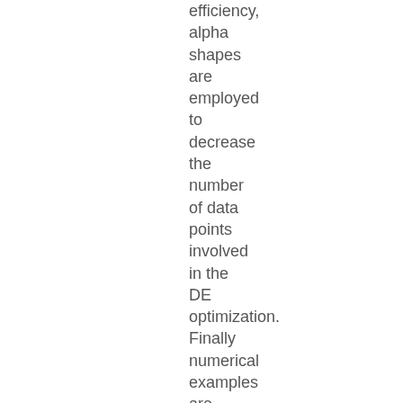efficiency, alpha shapes are employed to decrease the number of data points involved in the DE optimization. Finally numerical examples are presented to